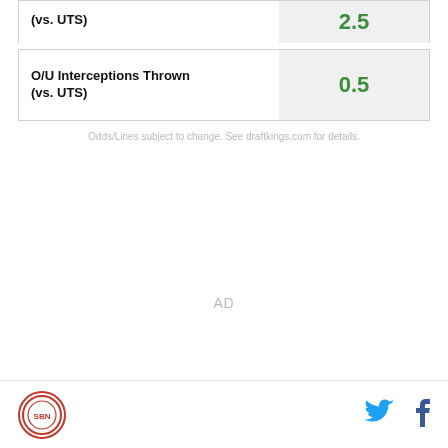| Stat | Value |
| --- | --- |
| O/U Interceptions Thrown (vs. UTS) | 0.5 |
Odds/Lines subject to change. See draftkings.com for details.
AD
[Figure (logo): SB Nation site logo — circular red badge]
[Figure (logo): Twitter bird icon in blue]
[Figure (logo): Facebook 'f' icon in dark blue]